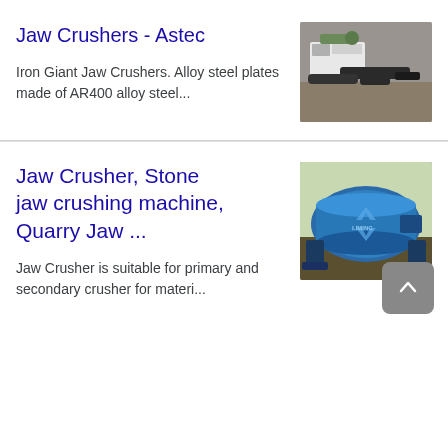Jaw Crushers - Astec
Iron Giant Jaw Crushers. Alloy steel plates made of AR400 alloy steel...
[Figure (photo): Aerial/side view of a jaw crusher machine on dirt ground]
Jaw Crusher, Stone jaw crushing machine, Quarry Jaw ...
Jaw Crusher is suitable for primary and secondary crusher for materi...
[Figure (photo): Blue cylindrical jaw crusher / ball mill machine with LIMING branding]